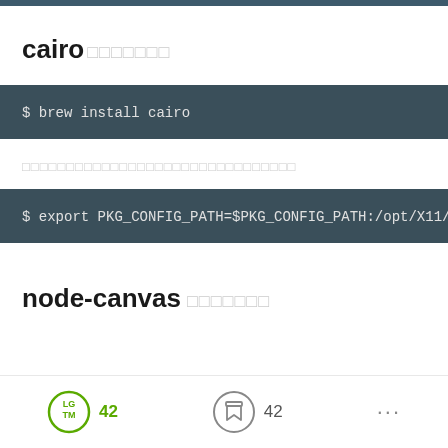cairo □□□□□□□
$ brew install cairo
□□□□□□□□□□□□□□□□□□□□□□□□□□□□□□□
$ export PKG_CONFIG_PATH=$PKG_CONFIG_PATH:/opt/X11/lib
node-canvas □□□□□□□
42  42  ...